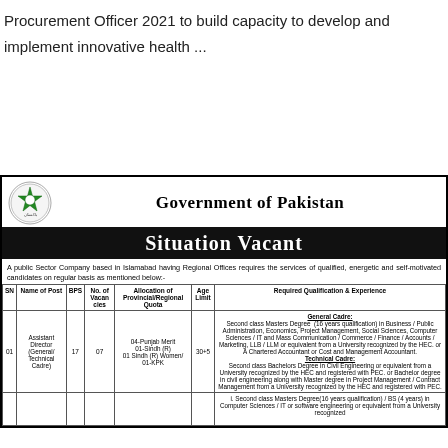Procurement Officer 2021 to build capacity to develop and implement innovative health ...
Read More »
[Figure (infographic): Government of Pakistan Situation Vacant notice header with national emblem logo]
A public Sector Company based in Islamabad having Regional Offices requires the services of qualified, energetic and self-motivated candidates on regular basis as mentioned below:-
| SN | Name of Post | BPS | No. of Vacancies | Allocation of Provincial/Regional Quota | Age Limit | Required Qualification & Experience |
| --- | --- | --- | --- | --- | --- | --- |
| 01 | Assistant Director (General/ Technical Cadre) | 17 | 07 | 04-Punjab Merit
01-Sindh (R)
01 Sindh (R) Women/
01-KPK | 30+5 | General Cadre:
Second class Masters Degree (16 years qualification) in Business / Public Administration, Economics, Project Management, Social Sciences, Computer Sciences / IT and Mass Communication / Commerce / Finance / Accounts / Marketing, LLB / LLM or equivalent from a University recognized by the HEC. or A Chartered Accountant or Cost and Management Accountant.
Technical Cadre:
Second class Bachelors Degree in Civil Engineering or equivalent from a University recognized by the HEC and registered with PEC. or Bachelor degree in civil engineering along with Master degree in Project Management / Contract Management from a University recognized by the HEC and registered with PEC. |
|  |  |  |  |  |  | i. Second class Masters Degree(16 years qualification) / BS (4 years) in Computer Sciences / IT or software engineering or equivalent from a University recognized |